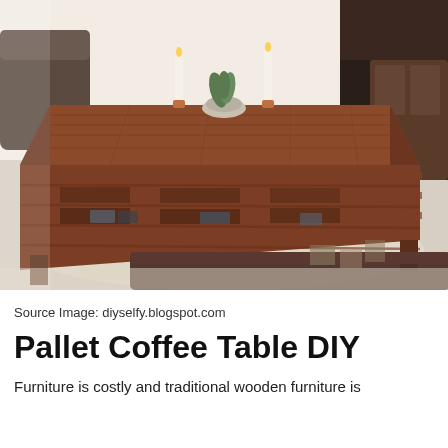[Figure (photo): A DIY pallet coffee table made from stained wooden pallets, placed in a living room with leather sofas and a rug. The table has multiple shelf levels and is topped with candles and a small plant.]
Source Image: diyselfy.blogspot.com
Pallet Coffee Table DIY
Furniture is costly and traditional wooden furniture is